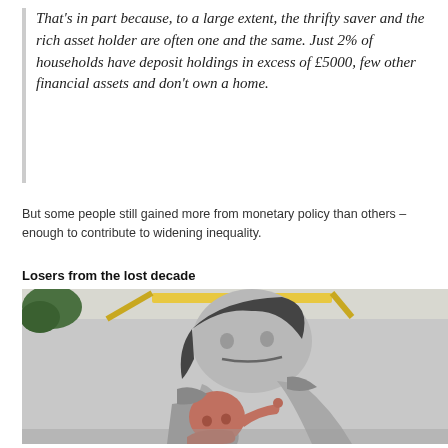That's in part because, to a large extent, the thrifty saver and the rich asset holder are often one and the same. Just 2% of households have deposit holdings in excess of £5000, few other financial assets and don't own a home.
But some people still gained more from monetary policy than others – enough to contribute to widening inequality.
Losers from the lost decade
[Figure (photo): A black and white street art mural on a building wall depicting a woman holding a baby, with trees and scaffolding visible at the top.]
Mark Carney looked beyond